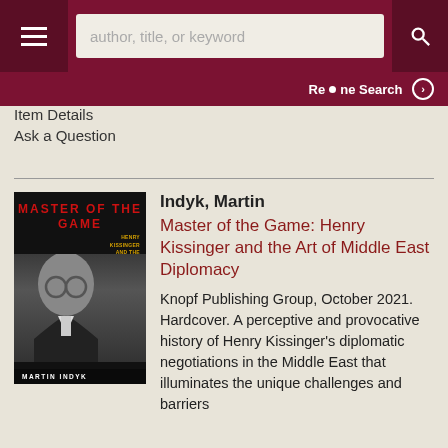author, title, or keyword
Re•ne Search
Item Details
Ask a Question
[Figure (illustration): Book cover of 'Master of the Game: Henry Kissinger and the Art of Middle East Diplomacy' by Martin Indyk. Black and white photo of Henry Kissinger with red title text at top and yellow subtitle text on right side.]
Indyk, Martin
Master of the Game: Henry Kissinger and the Art of Middle East Diplomacy
Knopf Publishing Group, October 2021. Hardcover. A perceptive and provocative history of Henry Kissinger's diplomatic negotiations in the Middle East that illuminates the unique challenges and barriers